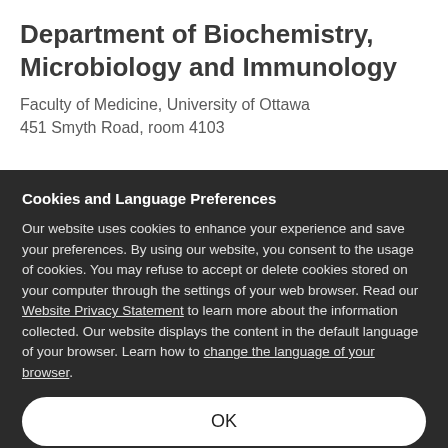Department of Biochemistry, Microbiology and Immunology
Faculty of Medicine, University of Ottawa
451 Smyth Road, room 4103
Cookies and Language Preferences
Our website uses cookies to enhance your experience and save your preferences. By using our website, you consent to the usage of cookies. You may refuse to accept or delete cookies stored on your computer through the settings of your web browser. Read our Website Privacy Statement to learn more about the information collected. Our website displays the content in the default language of your browser. Learn how to change the language of your browser.
OK